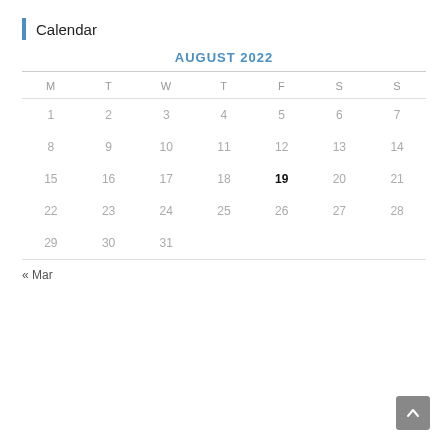Calendar
| M | T | W | T | F | S | S |
| --- | --- | --- | --- | --- | --- | --- |
| 1 | 2 | 3 | 4 | 5 | 6 | 7 |
| 8 | 9 | 10 | 11 | 12 | 13 | 14 |
| 15 | 16 | 17 | 18 | 19 | 20 | 21 |
| 22 | 23 | 24 | 25 | 26 | 27 | 28 |
| 29 | 30 | 31 |  |  |  |  |
« Mar